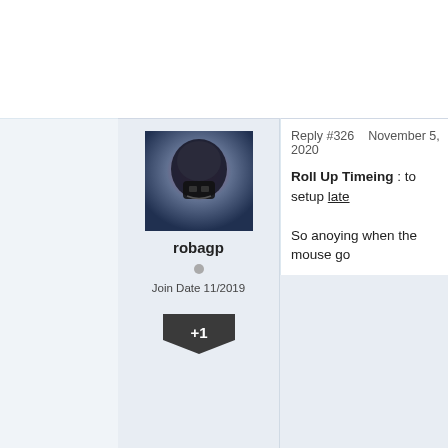Reply #326    November 5, 2020
robagp
Join Date 11/2019
+1
Roll Up Timeing : to setup late...
So anoying when the mouse go...
Reply #327    November 7, 2020
th4d
Join Date 10/2018
0
Fences messes my wallpapers...
Id also like it to not switch the f... initializes a monitor in a differen...
Id also like for it to start sooner... up, and I have a 3700X with an...